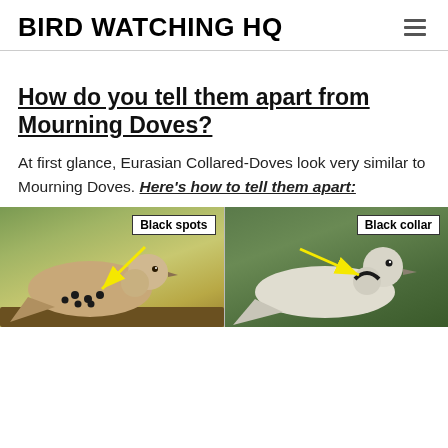BIRD WATCHING HQ
How do you tell them apart from Mourning Doves?
At first glance, Eurasian Collared-Doves look very similar to Mourning Doves. Here’s how to tell them apart:
[Figure (photo): Side-by-side comparison photo of two doves. Left: a Mourning Dove with an arrow pointing to black spots on its wing, labeled 'Black spots'. Right: a Eurasian Collared-Dove with an arrow pointing to its neck, labeled 'Black collar'.]